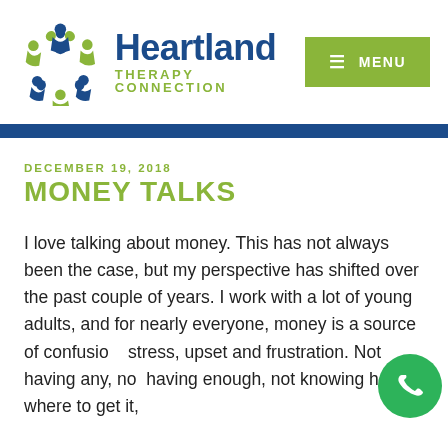[Figure (logo): Heartland Therapy Connection logo with circular figures icon in blue and green, text 'Heartland' in dark blue and 'THERAPY CONNECTION' in olive green]
MENU
DECEMBER 19, 2018
MONEY TALKS
I love talking about money. This has not always been the case, but my perspective has shifted over the past couple of years. I work with a lot of young adults, and for nearly everyone, money is a source of confusion, stress, upset and frustration. Not having any, not having enough, not knowing how or where to get it, not knowing what to do with if if you do have some. The